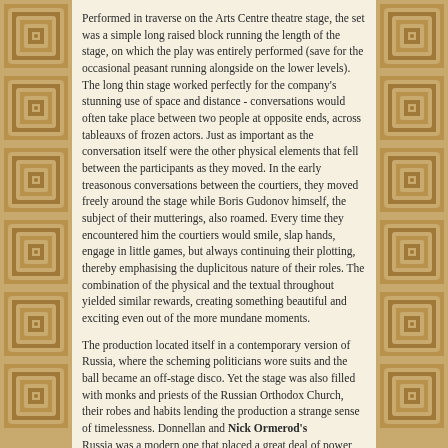Performed in traverse on the Arts Centre theatre stage, the set was a simple long raised block running the length of the stage, on which the play was entirely performed (save for the occasional peasant running alongside on the lower levels). The long thin stage worked perfectly for the company's stunning use of space and distance - conversations would often take place between two people at opposite ends, across tableauxs of frozen actors. Just as important as the conversation itself were the other physical elements that fell between the participants as they moved. In the early treasonous conversations between the courtiers, they moved freely around the stage while Boris Gudonov himself, the subject of their mutterings, also roamed. Every time they encountered him the courtiers would smile, slap hands, engage in little games, but always continuing their plotting, thereby emphasising the duplicitous nature of their roles. The combination of the physical and the textual throughout yielded similar rewards, creating something beautiful and exciting even out of the more mundane moments.
The production located itself in a contemporary version of Russia, where the scheming politicians wore suits and the ball became an off-stage disco. Yet the stage was also filled with monks and priests of the Russian Orthodox Church, their robes and habits lending the production a strange sense of timelessness. Donnellan and Nick Ormerod's Russia was a modern one that placed a great deal of power